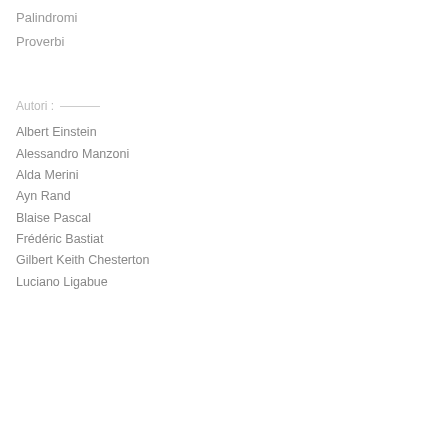Palindromi
Proverbi
Autori :
Albert Einstein
Alessandro Manzoni
Alda Merini
Ayn Rand
Blaise Pascal
Frédéric Bastiat
Gilbert Keith Chesterton
Luciano Ligabue